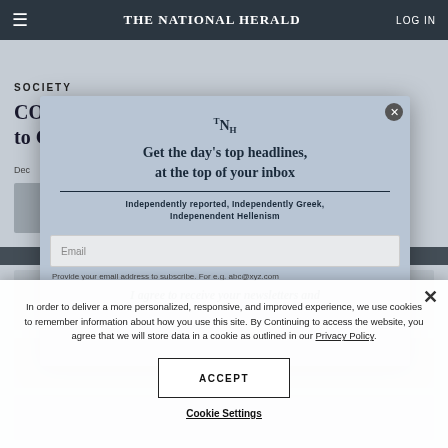THE NATIONAL HERALD | LOG IN
SOCIETY
COVID-19 Wiped Prime Cyprus to Greece...
Dec...
[Figure (screenshot): Newsletter subscription modal with TNH logo, headline 'Get the day's top headlines, at the top of your inbox', tagline 'Independently reported, Independently Greek, Indepenendent Hellenism', email input field, and partial agree text]
Provide your email address to subscribe. For e.g. abc@xyz.com
I agree to receive your newsletters and
In order to deliver a more personalized, responsive, and improved experience, we use cookies to remember information about how you use this site. By Continuing to access the website, you agree that we will store data in a cookie as outlined in our Privacy Policy.
ACCEPT
Cookie Settings